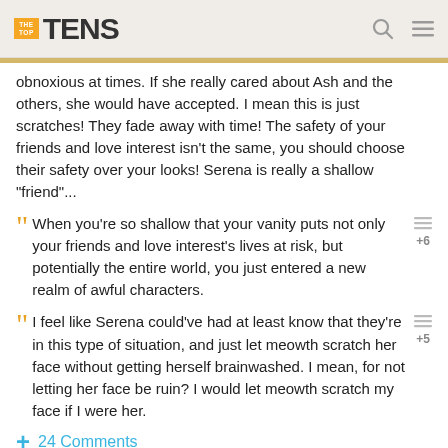THE TOP TENS
obnoxious at times. If she really cared about Ash and the others, she would have accepted. I mean this is just scratches! They fade away with time! The safety of your friends and love interest isn't the same, you should choose their safety over your looks! Serena is really a shallow "friend"...
When you're so shallow that your vanity puts not only your friends and love interest's lives at risk, but potentially the entire world, you just entered a new realm of awful characters.
I feel like Serena could've had at least know that they're in this type of situation, and just let meowth scratch her face without getting herself brainwashed. I mean, for not letting her face be ruin? I would let meowth scratch my face if I were her.
24 Comments